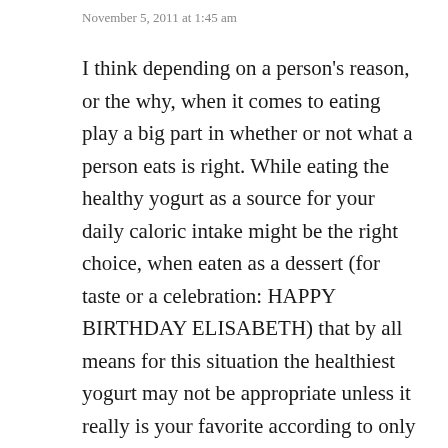November 5, 2011 at 1:45 am
I think depending on a person's reason, or the why, when it comes to eating play a big part in whether or not what a person eats is right. While eating the healthy yogurt as a source for your daily caloric intake might be the right choice, when eaten as a dessert (for taste or a celebration: HAPPY BIRTHDAY ELISABETH) that by all means for this situation the healthiest yogurt may not be appropriate unless it really is your favorite according to only your taste.
But past the date of expire or not maintained at safe temperatures cool enough automatically makes the worst the yogurt during the…